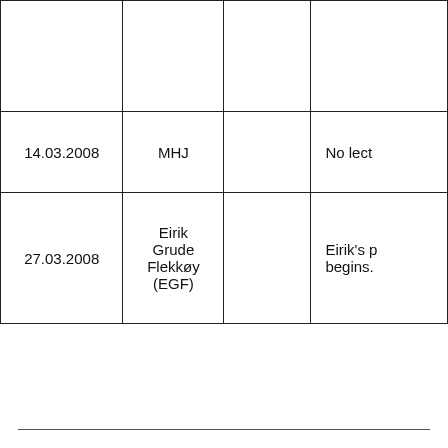|  |  |  |  |
| 14.03.2008 | MHJ |  | No lect |
| 27.03.2008 | Eirik Grude Flekkøy (EGF) |  | Eirik's p begins. |